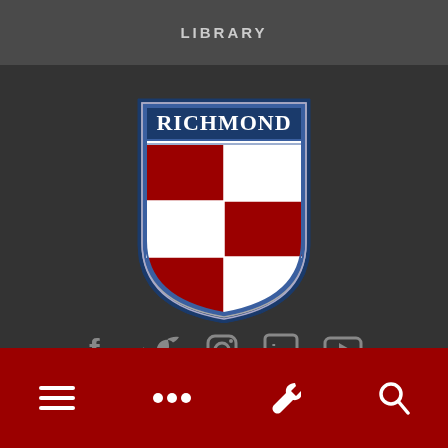LIBRARY
[Figure (logo): University of Richmond shield logo with red and white checkered pattern and RICHMOND text on blue banner at top]
[Figure (infographic): Social media icons: Facebook, Twitter, Instagram, LinkedIn, YouTube]
410 Westhampton Way
[Figure (infographic): Bottom navigation bar with hamburger menu, ellipsis, wrench/settings, and search icons on dark red background]